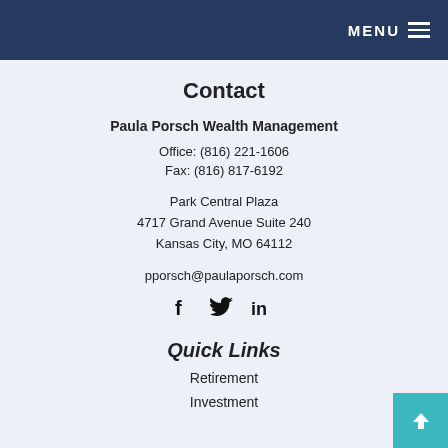MENU
Contact
Paula Porsch Wealth Management
Office:  (816) 221-1606
Fax:   (816) 817-6192
Park Central Plaza
4717 Grand Avenue Suite 240
Kansas City, MO 64112
pporsch@paulaporsch.com
[Figure (infographic): Social media icons: Facebook (f), Twitter (bird), LinkedIn (in)]
Quick Links
Retirement
Investment